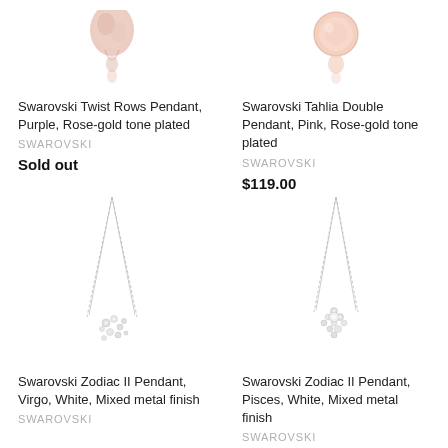[Figure (photo): Swarovski Twist Rows Pendant, Purple, Rose-gold tone plated - partial top view]
Swarovski Twist Rows Pendant, Purple, Rose-gold tone plated
SWAROVSKI
Sold out
[Figure (photo): Swarovski Tahlia Double Pendant, Pink, Rose-gold tone plated - partial top view]
Swarovski Tahlia Double Pendant, Pink, Rose-gold tone plated
SWAROVSKI
$119.00
[Figure (photo): Swarovski Zodiac II Pendant, Virgo, White, Mixed metal finish - necklace with chain]
Swarovski Zodiac II Pendant, Virgo, White, Mixed metal finish
SWAROVSKI
[Figure (photo): Swarovski Zodiac II Pendant, Pisces, White, Mixed metal finish - necklace with chain]
Swarovski Zodiac II Pendant, Pisces, White, Mixed metal finish
SWAROVSKI